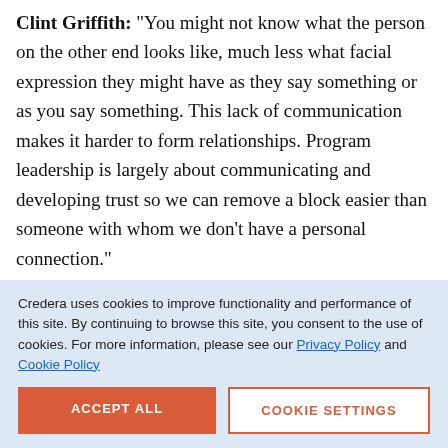Clint Griffith: "You might not know what the person on the other end looks like, much less what facial expression they might have as they say something or as you say something. This lack of communication makes it harder to form relationships. Program leadership is largely about communicating and developing trust so we can remove a block easier than someone with whom we don't have a personal connection."
Credera uses cookies to improve functionality and performance of this site. By continuing to browse this site, you consent to the use of cookies. For more information, please see our Privacy Policy and Cookie Policy